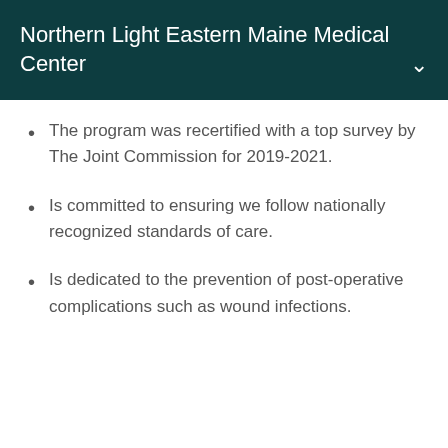Northern Light Eastern Maine Medical Center
The program was recertified with a top survey by The Joint Commission for 2019-2021.
Is committed to ensuring we follow nationally recognized standards of care.
Is dedicated to the prevention of post-operative complications such as wound infections.